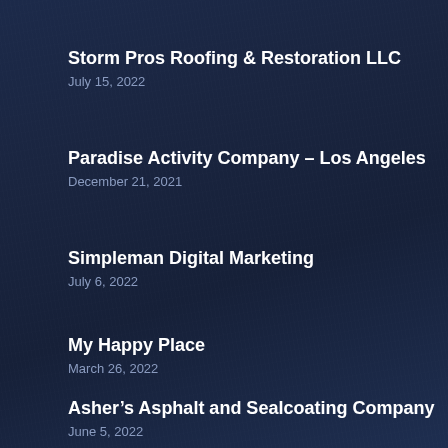Storm Pros Roofing & Restoration LLC
July 15, 2022
Paradise Activity Company – Los Angeles
December 21, 2021
Simpleman Digital Marketing
July 6, 2022
My Happy Place
March 26, 2022
Asher's Asphalt and Sealcoating Company
June 5, 2022